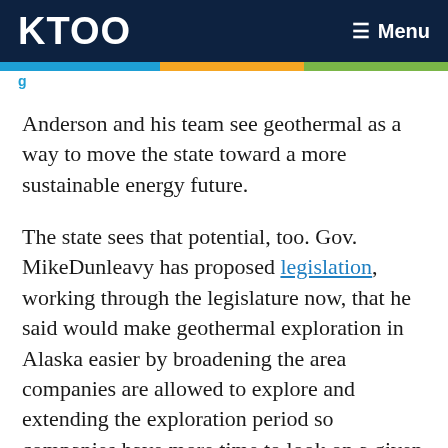KTOO   ≡ Menu
Anderson and his team see geothermal as a way to move the state toward a more sustainable energy future.
The state sees that potential, too. Gov. MikeDunleavy has proposed legislation, working through the legislature now, that he said would make geothermal exploration in Alaska easier by broadening the area companies are allowed to explore and extending the exploration period so companies have more time to look on a given permit.